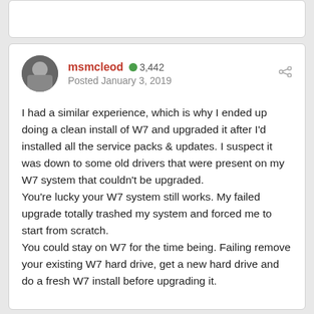msmcleod  3,442  Posted January 3, 2019
I had a similar experience, which is why I ended up doing a clean install of W7 and upgraded it after I'd installed all the service packs & updates. I suspect it was down to some old drivers that were present on my W7 system that couldn't be upgraded.
You're lucky your W7 system still works. My failed upgrade totally trashed my system and forced me to start from scratch.
You could stay on W7 for the time being. Failing remove your existing W7 hard drive, get a new hard drive and do a fresh W7 install before upgrading it.